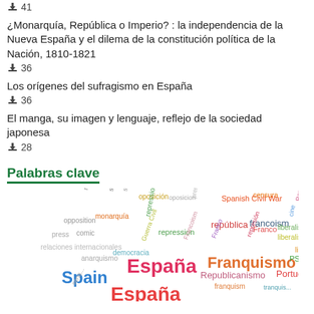¿Monarquía, República o Imperio? : la independencia de la Nueva España y el dilema de la constitución política de la Nación, 1810-1821
⬇ 36
Los orígenes del sufragismo en España
⬇ 36
El manga, su imagen y lenguaje, reflejo de la sociedad japonesa
⬇ 28
Palabras clave
[Figure (infographic): Word cloud showing keywords related to Spanish history topics including: España, Spain, francoismo, Franquismo, república, francoism, repression, represión, liberalism, liberalismo, Portuguese, PSOE, Republicanism, Republicanismo, Spanish Civil War, Guerra Civil, democracia, monarquía, oposición, socialism, socialismo, relaciones internacionales, opposition, press, prensa, comic, cine, censura, anarquismo, tranquilo]